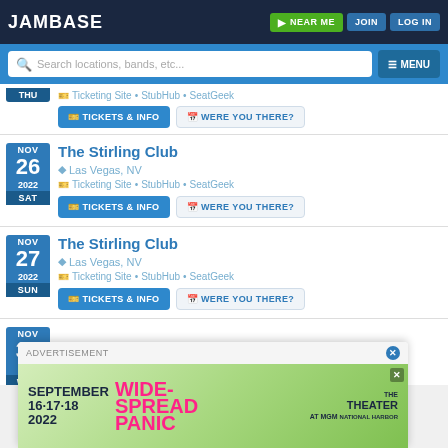JamBase | NEAR ME | JOIN | LOG IN
Search locations, bands, etc... | MENU
THU | Ticketing Site • StubHub • SeatGeek | TICKETS & INFO | WERE YOU THERE?
The Stirling Club
Las Vegas, NV
Ticketing Site • StubHub • SeatGeek
NOV 26 2022 SAT | TICKETS & INFO | WERE YOU THERE?
The Stirling Club
Las Vegas, NV
Ticketing Site • StubHub • SeatGeek
NOV 27 2022 SUN | TICKETS & INFO | WERE YOU THERE?
NOV 30 2022 WED
ADVERTISEMENT